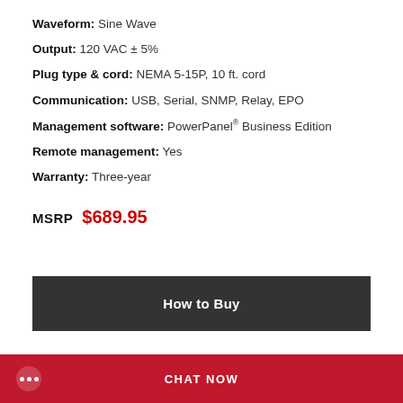Waveform: Sine Wave
Output: 120 VAC ± 5%
Plug type & cord: NEMA 5-15P, 10 ft. cord
Communication: USB, Serial, SNMP, Relay, EPO
Management software: PowerPanel® Business Edition
Remote management: Yes
Warranty: Three-year
MSRP $689.95
How to Buy
CHAT NOW